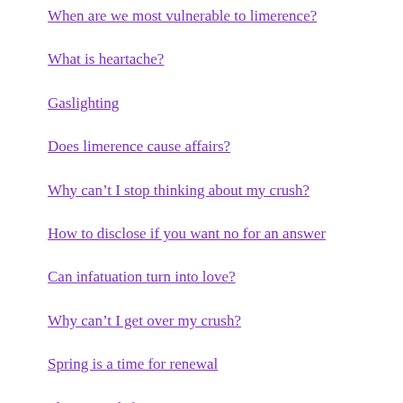When are we most vulnerable to limerence?
What is heartache?
Gaslighting
Does limerence cause affairs?
Why can't I stop thinking about my crush?
How to disclose if you want no for an answer
Can infatuation turn into love?
Why can't I get over my crush?
Spring is a time for renewal
Playing with fire